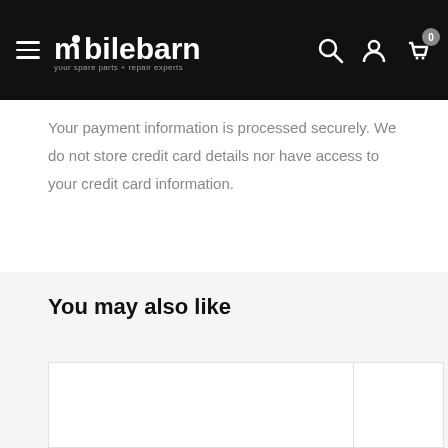mobilebarn — your spare parts + repair experts
Your payment information is processed securely. We do not store credit card details nor have access to your credit card information.
You may also like
[Figure (other): Two product card placeholders (white boxes) in a 'You may also like' section on a light grey background]